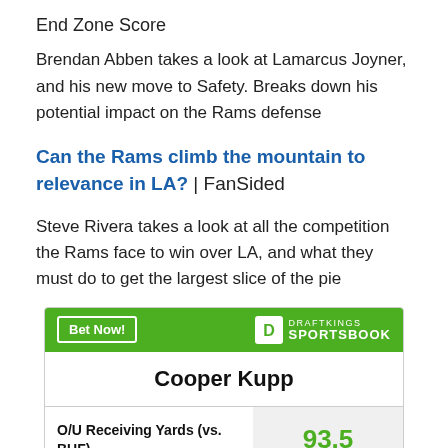End Zone Score
Brendan Abben takes a look at Lamarcus Joyner, and his new move to Safety. Breaks down his potential impact on the Rams defense
Can the Rams climb the mountain to relevance in LA? | FanSided
Steve Rivera takes a look at all the competition the Rams face to win over LA, and what they must do to get the largest slice of the pie
|  |  |
| --- | --- |
| Cooper Kupp |  |
| O/U Receiving Yards (vs. BUF) | 93.5 |